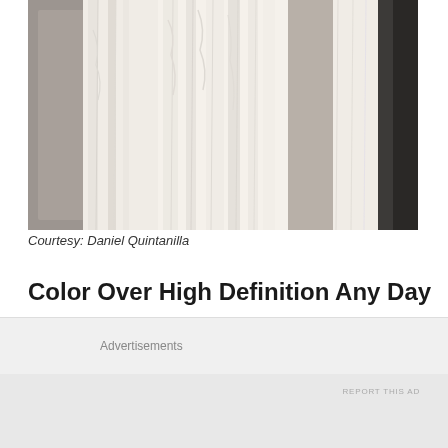[Figure (photo): Photo of white/cream wedding dresses hanging on a rack, showing fabric folds and texture, partial view cropped at the top.]
Courtesy: Daniel Quintanilla
Color Over High Definition Any Day
While at UBM's "Coterie" trade show last Wednesday at the Javits Center up in New York City, Daniel+Lauren got
Advertisements